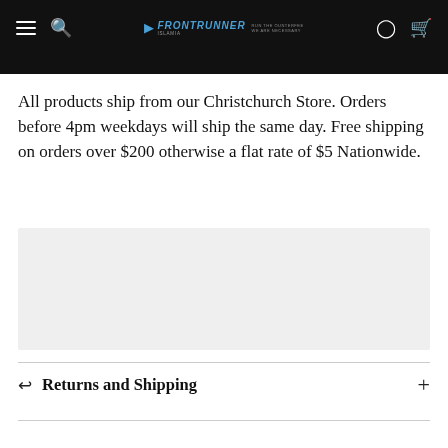Frontrunner — navigation bar with menu, search, account, cart icons and logo
All products ship from our Christchurch Store. Orders before 4pm weekdays will ship the same day. Free shipping on orders over $200 otherwise a flat rate of $5 Nationwide.
[Figure (other): Light gray placeholder/content box]
Returns and Shipping